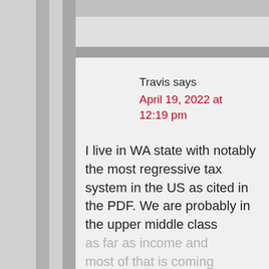Travis says
April 19, 2022 at 12:19 pm
I live in WA state with notably the most regressive tax system in the US as cited in the PDF. We are probably in the upper middle class as far as income and most of that is coming